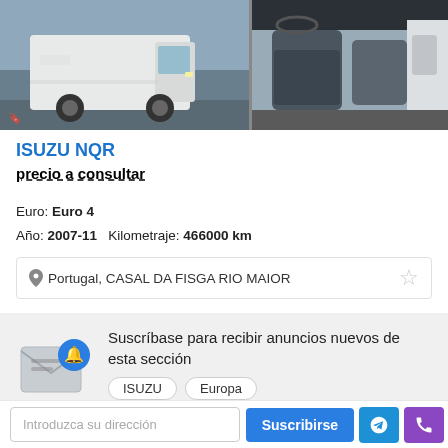[Figure (photo): Two vehicle photos side by side: left shows a white Isuzu NQR truck exterior, right shows the interior cab/seats.]
ISUZU NQR
precio a consultar
Euro: Euro 4
Año: 2007-11  Kilometraje: 466000 km
Portugal, CASAL DA FISGA RIO MAIOR
Suscríbase para recibir anuncios nuevos de esta sección
ISUZU  Europa
Introduzca su dirección  Suscribirse